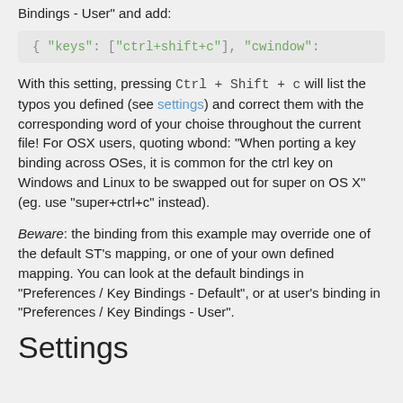Bindings - User" and add:
{ "keys": ["ctrl+shift+c"], "cwindow":
With this setting, pressing Ctrl + Shift + c will list the typos you defined (see settings) and correct them with the corresponding word of your choise throughout the current file! For OSX users, quoting wbond: "When porting a key binding across OSes, it is common for the ctrl key on Windows and Linux to be swapped out for super on OS X" (eg. use "super+ctrl+c" instead).
Beware: the binding from this example may override one of the default ST's mapping, or one of your own defined mapping. You can look at the default bindings in "Preferences / Key Bindings - Default", or at user's binding in "Preferences / Key Bindings - User".
Settings